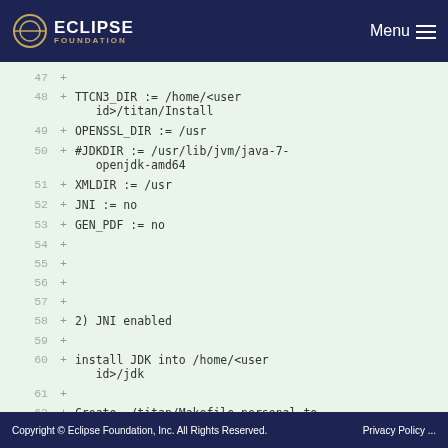ECLIPSE FOUNDATION  Menu
[Figure (screenshot): Code diff view showing lines 47-62 with green background. Lines show Makefile configuration: TTCN3_DIR, OPENSSL_DIR, #JDKDIR, XMLDIR, JNI, GEN_PDF settings, followed by blank lines, '2) JNI enabled', install JDK instructions, and Create ~/titan/Makefile.personal.]
Copyright © Eclipse Foundation, Inc. All Rights Reserved.    Privacy Policy ...